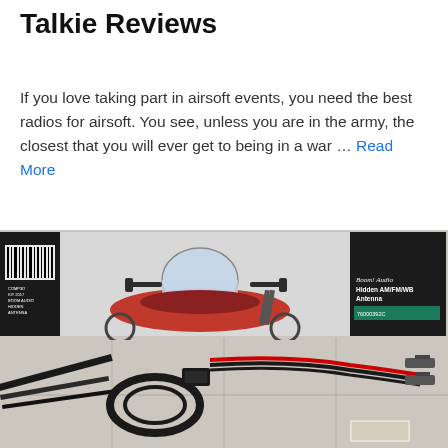Talkie Reviews
If you love taking part in airsoft events, you need the best radios for airsoft. You see, unless you are in the army, the closest that you will ever get to being in a war … Read More
[Figure (photo): Photo showing a product box of 'Boom! Audio Hidden AM/FM/WB Antenna' alongside cables, wiring harness, and antenna components laid out on a tiled floor]